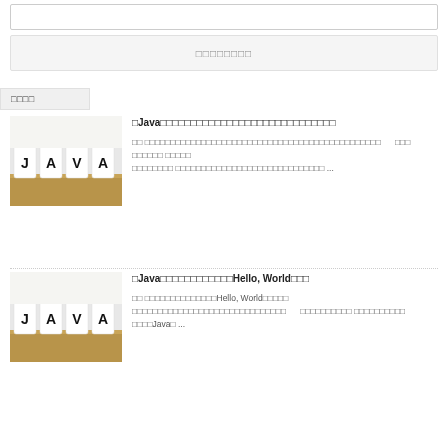[Figure (screenshot): Search input bar]
[Figure (screenshot): Button bar with Japanese placeholder text]
□□□□
[Figure (photo): JAVA letter blocks photo for first article]
□Java□□□□□□□□□□□□□□□□□□□□□□□□□□□□□
□□ □□□□□□□□□□□□□□□□□□□□□□□□□□□□□□□□□□□□□□□□□□□□□□      □□□ □□□□□□ □□□□□ □□□□□□□□ □□□□□□□□□□□□□□□□□□□□□□□□□□□ ...
[Figure (photo): JAVA letter blocks photo for second article]
□Java□□□□□□□□□□□□Hello, World□□□
□□ □□□□□□□□□□□□□□Hello, World□□□□□ □□□□□□□□□□□□□□□□□□□□□□□□□□□□□□□      □□□□□□□□□□ □□□□□□□□□□ □□□□Java□ ...